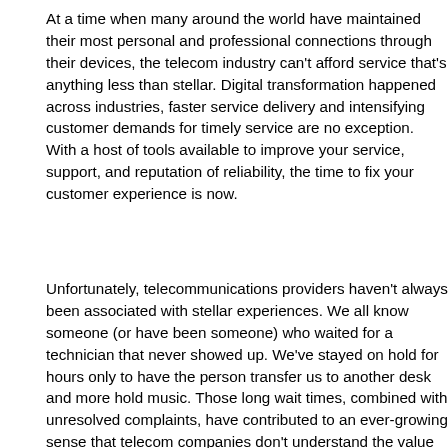At a time when many around the world have maintained their most personal and professional connections through their devices, the telecom industry can't afford service that's anything less than stellar. Digital transformation happened across industries, faster service delivery and intensifying customer demands for timely service are no exception. With a host of tools available to improve your service, support, and reputation of reliability, the time to fix your customer experience is now.
Unfortunately, telecommunications providers haven't always been associated with stellar experiences. We all know someone (or have been someone) who waited for a technician that never showed up. We've stayed on hold for hours only to have the person transfer us to another desk and more hold music. Those long wait times, combined with unresolved complaints, have contributed to an ever-growing sense that telecom companies don't understand the value of a great customer experience. An industry so embedded in people's everyday lives has to see the benefits of keeping those customers satisfied.
Customer retention isn't just good for your reputation; it's crucial to your bottom line. Research found the likelihood of selling to an existing customer is 60 percent to 70 percent, while the likelihood of selling to a new customer is 5 percent to 20 percent. And research has shown that a 5% increase in customer retention can lead to a rise in profits, anywhere from 25% to 95%. After nearly two years of delays and economic hardships, customers are demanding more personalized service. The cost of ignoring those needs is steep: A third of customers leave service providers after just one bad customer service experience.
As customer expectations have grown, service strategies must evolve. Here are 5 ways to rise to your customers' digital expectations.
Incorporating remote visual assistance software has the power to improve your customer experience while supporting your teams, creating lasting change that